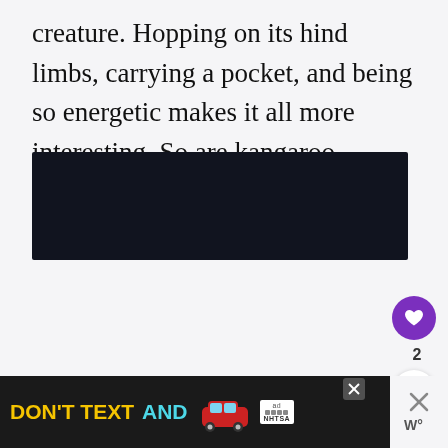creature. Hopping on its hind limbs, carrying a pocket, and being so energetic makes it all more interesting. So are kangaroo dreams!
[Figure (other): Dark/black rectangular image block, content not visible (redacted or media placeholder)]
[Figure (infographic): UI elements: heart/like button (purple circle with heart icon), like count '2', share button (white circle with share icon)]
[Figure (infographic): Advertisement banner: 'DON'T TEXT AND' with car emoji graphic and NHTSA ad logo. Close button 'X' visible. Panel close icon with 'W' symbol on right.]